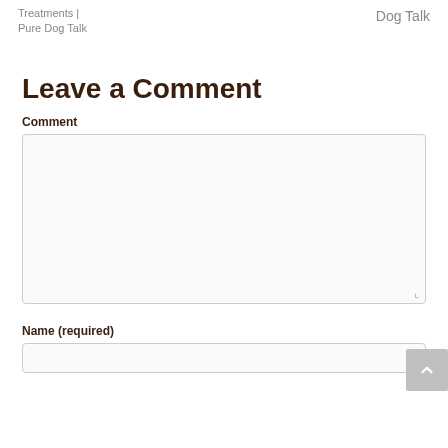Treatments | Pure Dog Talk
Dog Talk
Leave a Comment
Comment
Name (required)